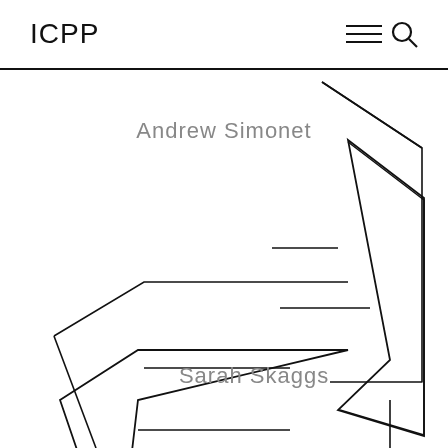ICPP
[Figure (illustration): Navigation icons: hamburger menu (three horizontal lines) and magnifying glass search icon]
Andrew Simonet
[Figure (illustration): Geometric line art: two angular shapes forming zigzag arrow-like forms across the page, upper right and lower left areas]
Sarah Skaggs